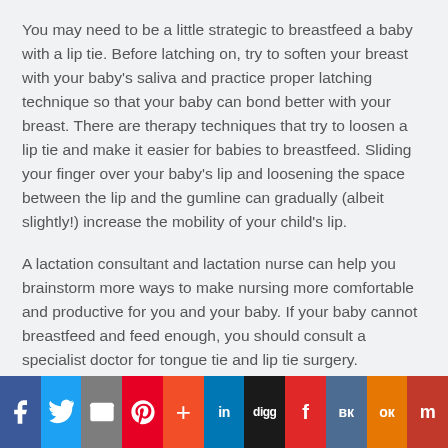You may need to be a little strategic to breastfeed a baby with a lip tie. Before latching on, try to soften your breast with your baby's saliva and practice proper latching technique so that your baby can bond better with your breast. There are therapy techniques that try to loosen a lip tie and make it easier for babies to breastfeed. Sliding your finger over your baby's lip and loosening the space between the lip and the gumline can gradually (albeit slightly!) increase the mobility of your child's lip.
A lactation consultant and lactation nurse can help you brainstorm more ways to make nursing more comfortable and productive for you and your baby. If your baby cannot breastfeed and feed enough, you should consult a specialist doctor for tongue tie and lip tie surgery.
How should babies with lip ties be breastfed?
Social sharing bar: Facebook, Twitter, Email, Pinterest, Google+, LinkedIn, Digg, Flipboard, VK, OK, Mix